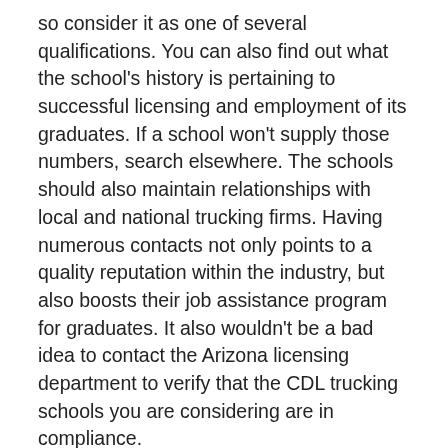so consider it as one of several qualifications. You can also find out what the school's history is pertaining to successful licensing and employment of its graduates. If a school won't supply those numbers, search elsewhere. The schools should also maintain relationships with local and national trucking firms. Having numerous contacts not only points to a quality reputation within the industry, but also boosts their job assistance program for graduates. It also wouldn't be a bad idea to contact the Arizona licensing department to verify that the CDL trucking schools you are considering are in compliance.
How Effective is the Training? As a minimum requirement, the schools must be licensed in Arizona and hire instructors that are experienced and trained. We will discuss more about the instructors in the following segment. In addition, the student to instructor ratio should be no greater than 4 to 1. If it's any greater, then students will not be receiving the personalized attention